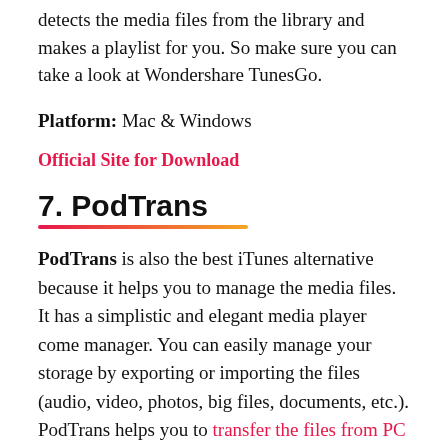detects the media files from the library and makes a playlist for you. So make sure you can take a look at Wondershare TunesGo.
Platform: Mac & Windows
Official Site for Download
7. PodTrans
PodTrans is also the best iTunes alternative because it helps you to manage the media files. It has a simplistic and elegant media player come manager. You can easily manage your storage by exporting or importing the files (audio, video, photos, big files, documents, etc.). PodTrans helps you to transfer the files from PC to iOS in